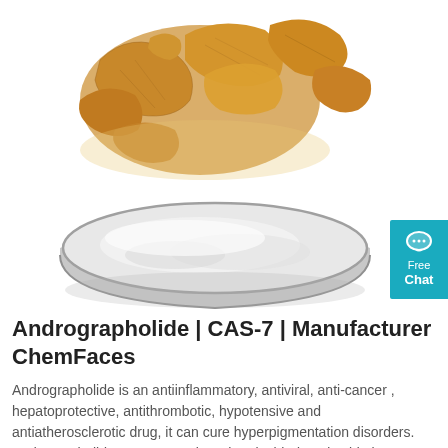[Figure (photo): Photo of dried root slices (yellow/tan colored) piled together on top, with a round glass dish containing white powder below them, on a white background.]
Andrographolide | CAS-7 | Manufacturer ChemFaces
Andrographolide is an antiinflammatory, antiviral, anti-cancer , hepatoprotective, antithrombotic, hypotensive and antiatherosclerotic drug, it can cure hyperpigmentation disorders. Andrographolide protects against chemical-induced oxidative damage by regulating the antioxidant status, ...